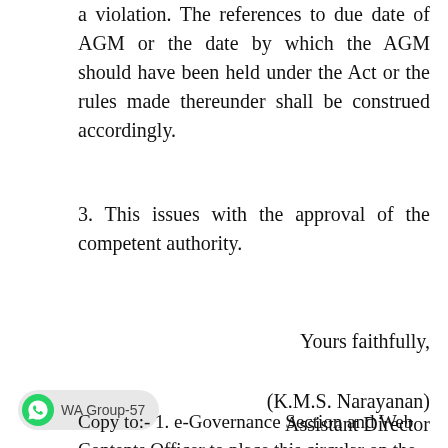a violation. The references to due date of AGM or the date by which the AGM should have been held under the Act or the rules made thereunder shall be construed accordingly.
3. This issues with the approval of the competent authority.
Yours faithfully,
(K.M.S. Narayanan)
Assistant Director
[Figure (other): WhatsApp group badge showing green WhatsApp icon and text 'WA Group-57']
Copy to:- 1. e-Governance Section and Web Contents Officer to place this circular on the